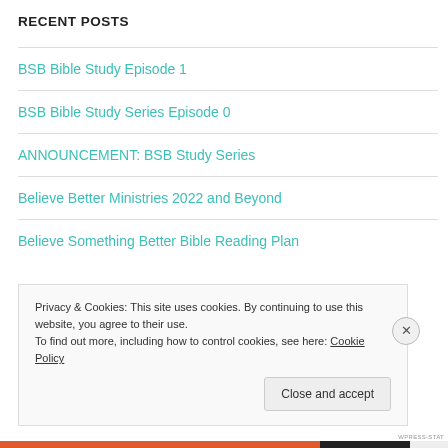RECENT POSTS
BSB Bible Study Episode 1
BSB Bible Study Series Episode 0
ANNOUNCEMENT: BSB Study Series
Believe Better Ministries 2022 and Beyond
Believe Something Better Bible Reading Plan
Privacy & Cookies: This site uses cookies. By continuing to use this website, you agree to their use.
To find out more, including how to control cookies, see here: Cookie Policy
Close and accept